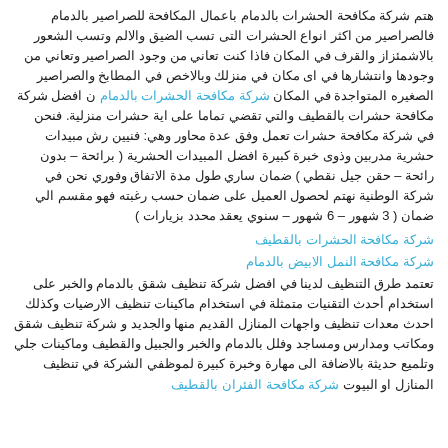هتم شركة مكافحة الحشرات بالدمام باعمال المكافحة للصراصير بالدمام فالصراصير من اكثر انواع الحشرات التى تسب الضيق والالم وتسب الشعور بالاشمئزاز والقرف في المكان فاذا كنت تعاني من وجود الصراصير وتعاني من وجودها وانتشارها في اى مكان في منزلك وبالاخص في المطابخ والصراصير الصغيره المتواجدة في المكان شركة مكافحة الحشرات بالدمام ن افضل شركة مكافحة حشرات بالقطيف والتي تقضي تماما على اية حشرات منزلية. فنحن في شركة مكافحة حشرات تعمل وفق عدة محاور وهي: فنيين رش مبيدات حشرية مدربين وذوى خبرة كبيرة افضل المبيدات الحشرية ( برائحة – بدون رائحة – حقن جيل نقطي ) ضمان ساري طول مدة الاتفاق وفوري نحن في شركة الوطنية نهتم لحصول العميل على ضمان حسب رغبته فهو مقسم الي ضمان ( 3 شهور – 6 شهور – سنوي يعقد محدد بزيارات )
شركة مكافحة الحشرات بالقطيف
شركة مكافحة النمل الابيض بالدمام
تعتمد طرق التنظيف لدينا في افضل شركة تنظيف شقق بالدمام والخبر على استخدام أحدث التقنيات متمثلة في استخدام ماكينات تنظيف الارضيات وكذلك احدث معدات تنظيف واجهات المنازل القديم منها والجديد و شركة تنظيف شقق ومكاتب ومدارس ومساجد وفلل بالدمام والخبر والجبيل والقطيف وماكينات جلي وتلميع حديثة بالاضافة الى مهارة وخبرة كبيرة لموظفي الشركة في تنظيف المنازل او البيوت شركة مكافحة الفئران بالقطيف